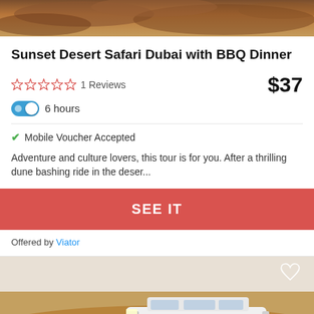[Figure (photo): Partial top view of sand dunes with warm brown/orange tones]
Sunset Desert Safari Dubai with BBQ Dinner
1 Reviews  $37  6 hours
✔ Mobile Voucher Accepted
Adventure and culture lovers, this tour is for you. After a thrilling dune bashing ride in the deser...
SEE IT
Offered by Viator
[Figure (photo): White SUV doing dune bashing on orange desert sand, sand spray visible around tires]